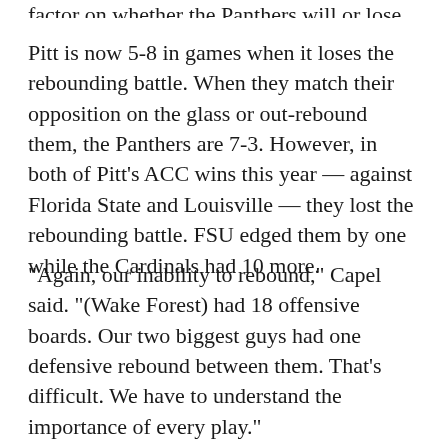factor on whether the Panthers will or lose.
Pitt is now 5-8 in games when it loses the rebounding battle. When they match their opposition on the glass or out-rebound them, the Panthers are 7-3. However, in both of Pitt’s ACC wins this year — against Florida State and Louisville — they lost the rebounding battle. FSU edged them by one while the Cardinals had 10 more.
“Again, our inability to rebound,” Capel said. “(Wake Forest) had 18 offensive boards. Our two biggest guys had one defensive rebound between them. That’s difficult. We have to understand the importance of every play.”